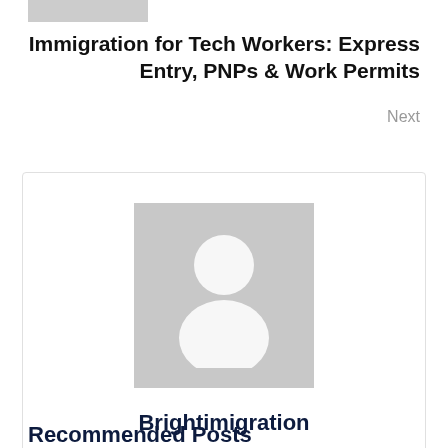[Figure (photo): Small cropped photo placeholder at top left]
Immigration for Tech Workers: Express Entry, PNPs & Work Permits
Next
[Figure (photo): Generic user avatar placeholder (grey background with white person silhouette)]
Brightimigration
[Figure (other): Email/envelope icon]
Recommended Posts